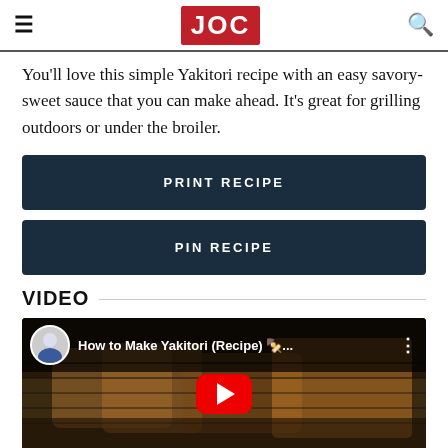JOC
You'll love this simple Yakitori recipe with an easy savory-sweet sauce that you can make ahead. It's great for grilling outdoors or under the broiler.
PRINT RECIPE
PIN RECIPE
VIDEO
[Figure (screenshot): YouTube video thumbnail for 'How to Make Yakitori (Recipe)' with a play button overlay and text 'HOW TO MAKE' at the bottom. Shows grilled chicken skewers.]